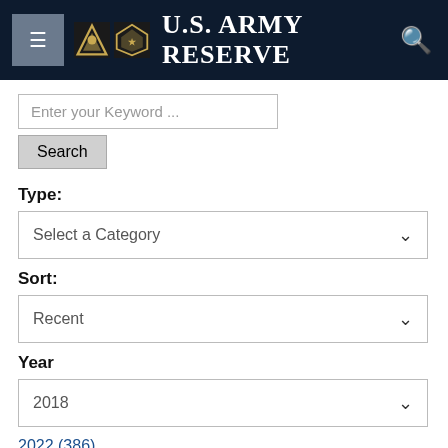U.S. Army Reserve
Enter your Keyword ...
Search
Type:
Select a Category
Sort:
Recent
Year
2018
2022 (386)
2021 (575)
2020 (548)
2019 (496)
2018 (432)
December (38)
November (30)
October (37)